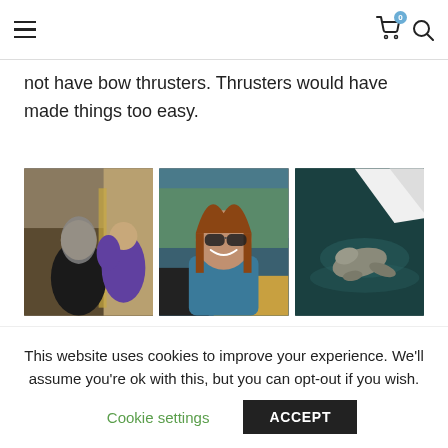Navigation bar with hamburger menu, cart icon (badge: 0), and search icon
not have bow thrusters. Thrusters would have made things too easy.
[Figure (photo): Three photos side by side: left shows two women working lines on a boat deck; center shows a smiling woman with sunglasses on a boat; right shows an aerial view of a seal/sea lion in water near a boat hull.]
Left to Right: Cheryl and Melissa working the lines as we prepare to shove off; Kaitlyn
This website uses cookies to improve your experience. We'll assume you're ok with this, but you can opt-out if you wish.
Cookie settings   ACCEPT